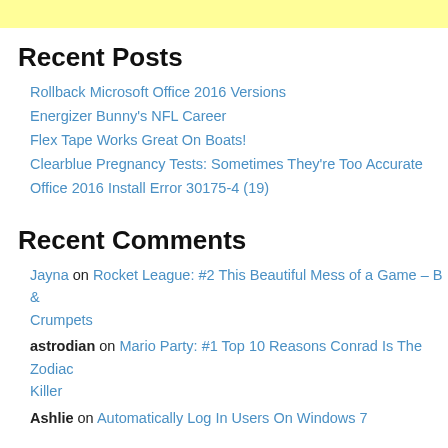Recent Posts
Rollback Microsoft Office 2016 Versions
Energizer Bunny's NFL Career
Flex Tape Works Great On Boats!
Clearblue Pregnancy Tests: Sometimes They're Too Accurate
Office 2016 Install Error 30175-4 (19)
Recent Comments
Jayna on Rocket League: #2 This Beautiful Mess of a Game – B & Crumpets
astrodian on Mario Party: #1 Top 10 Reasons Conrad Is The Zodiac Killer
Ashlie on Automatically Log In Users On Windows 7
Archives